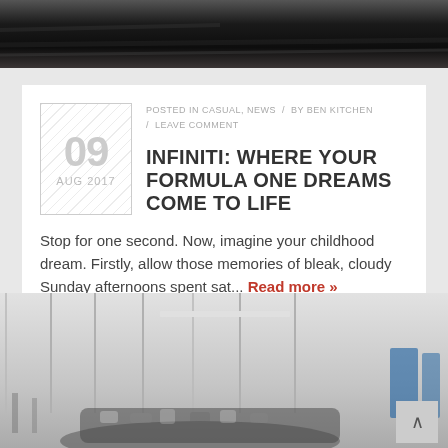[Figure (photo): Dark abstract top banner image, appears to be a dark sky or surface]
POSTED IN CASUAL, NEWS / BY BEN KITCHEN / LEAVE COMMENT
INFINITI: WHERE YOUR FORMULA ONE DREAMS COME TO LIFE
Stop for one second. Now, imagine your childhood dream. Firstly, allow those memories of bleak, cloudy Sunday afternoons spent sat… Read more »
[Figure (photo): Interior of a car workshop or garage with a camouflage-wrapped car visible at bottom, white walls with vertical column dividers and overhead lighting]